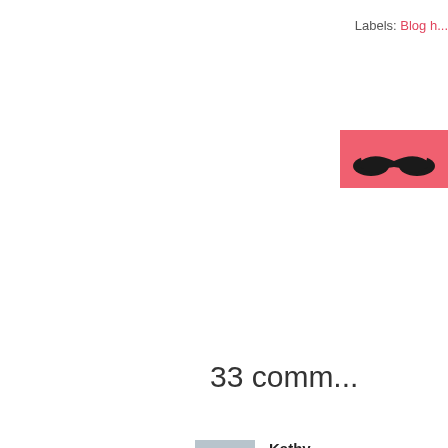Labels: Blog h...
[Figure (logo): Pink/red background logo with mustache symbol in black]
33 comm...
Kathy
[Figure (photo): Default user avatar - grey silhouette]
So cute
Reply
Miche...
[Figure (photo): Photo of a woman with dark curly hair smiling]
LOL  L... brillian...